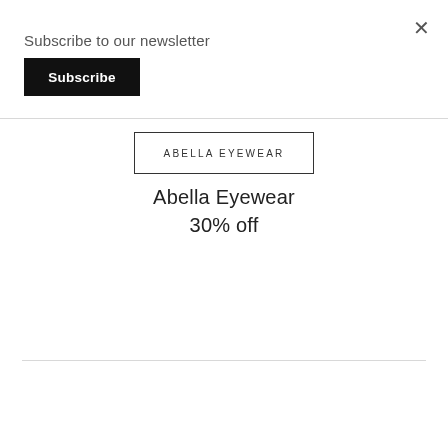Subscribe to our newsletter
Subscribe
[Figure (logo): Abella Eyewear brand logo in a rectangular border with text ABELLA EYEWEAR in uppercase spaced letters]
Abella Eyewear
30% off